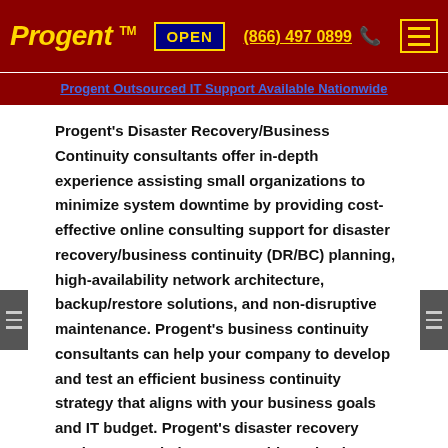Progent™ | OPEN | (866) 497 0899 | [menu]
Progent Outsourced IT Support Available Nationwide
Progent's Disaster Recovery/Business Continuity consultants offer in-depth experience assisting small organizations to minimize system downtime by providing cost-effective online consulting support for disaster recovery/business continuity (DR/BC) planning, high-availability network architecture, backup/restore solutions, and non-disruptive maintenance. Progent's business continuity consultants can help your company to develop and test an efficient business continuity strategy that aligns with your business goals and IT budget. Progent's disaster recovery engineers can help you to architect, implement, and manage fault-tolerant technologies such as non-stop Internet connectivity, virtualized servers, clustering, network load balancing, continual off-site backup, and geographically dispersed data centers.